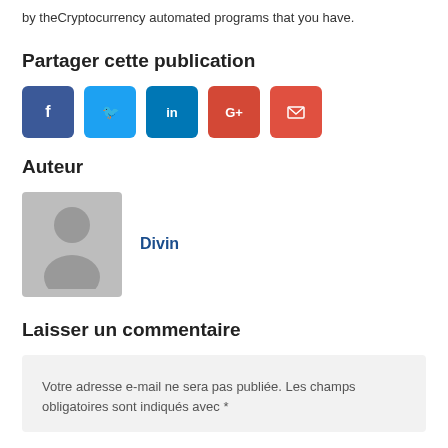by theCryptocurrency automated programs that you have.
Partager cette publication
[Figure (infographic): Social sharing buttons: Facebook (blue), Twitter (light blue), LinkedIn (dark blue), Google+ (red-orange), Email (red)]
Auteur
[Figure (photo): Default grey avatar placeholder with person silhouette]
Divin
Laisser un commentaire
Votre adresse e-mail ne sera pas publiée. Les champs obligatoires sont indiqués avec *